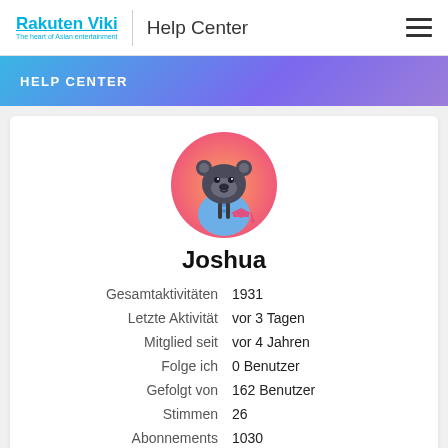Rakuten Viki | Help Center
HELP CENTER
[Figure (illustration): Bear avatar illustration with graduation cap icon, and username Joshua]
Gesamtaktivitäten 1931
Letzte Aktivität vor 3 Tagen
Mitglied seit vor 4 Jahren
Folge ich 0 Benutzer
Gefolgt von 162 Benutzer
Stimmen 26
Abonnements 1030